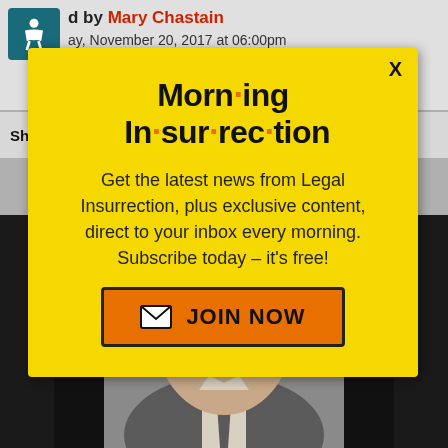d by Mary Chastain — ay, November 20, 2017 at 06:00pm — 22 Comments
Share This Story
[Figure (screenshot): Facebook and Twitter share buttons]
[Figure (photo): Photo of a man in a suit with a tie, partial face visible]
Morning Insurrection — Get the latest news from Legal Insurrection, plus exclusive content, direct to your inbox every morning. Subscribe today – it's free! JOIN NOW